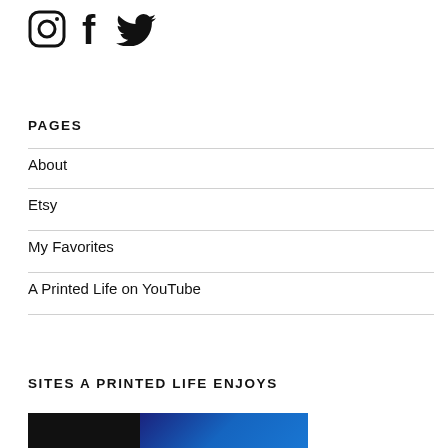[Figure (illustration): Social media icons: Instagram (circle with camera outline), Facebook (f), Twitter (bird)]
PAGES
About
Etsy
My Favorites
A Printed Life on YouTube
SITES A PRINTED LIFE ENJOYS
[Figure (photo): Partial photo showing blue leather and dark surface, cropped at bottom of page]